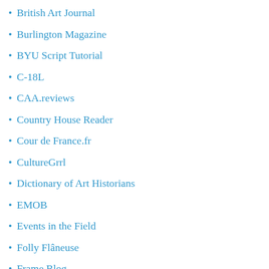British Art Journal
Burlington Magazine
BYU Script Tutorial
C-18L
CAA.reviews
Country House Reader
Cour de France.fr
CultureGrrl
Dictionary of Art Historians
EMOB
Events in the Field
Folly Flâneuse
Frame Blog
Georgian Papers Programme
GRHAM
H-Albion
H-France
H-Net
Heilbrunn Timeline
Histara-les comptes rendus